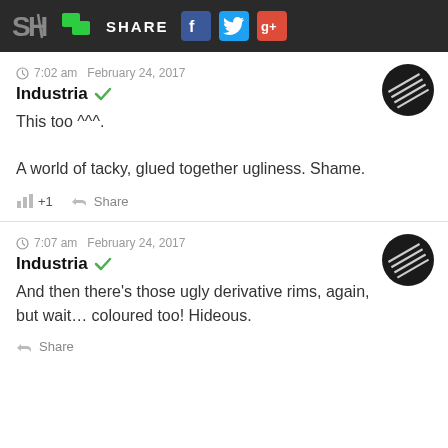SH SHARE
7:02 am  February 24, 2017
Industria ✓
This too ^^^.

A world of tacky, glued together ugliness. Shame.
+1  Share
7:07 am  February 24, 2017
Industria ✓
And then there's those ugly derivative rims, again, but wait… coloured too! Hideous.
Share